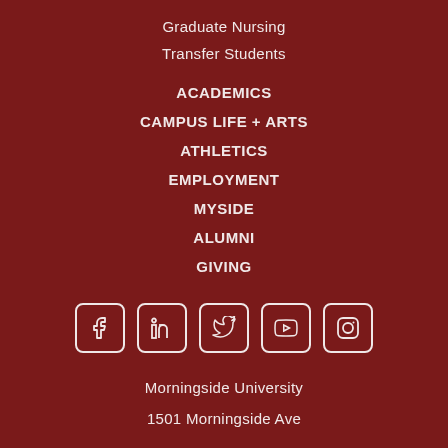Graduate Nursing
Transfer Students
ACADEMICS
CAMPUS LIFE + ARTS
ATHLETICS
EMPLOYMENT
MYSIDE
ALUMNI
GIVING
[Figure (infographic): Social media icons row: Facebook, LinkedIn, Twitter, YouTube, Instagram — white outlined rounded square icons on dark red background]
Morningside University
1501 Morningside Ave